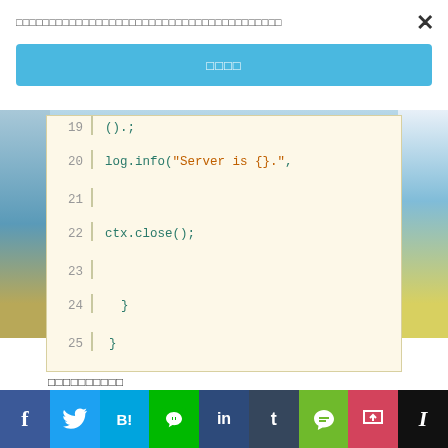（文字列が表示されますが、ここでは省略しています）
[Figure (screenshot): Blue button UI element with Japanese text]
[Figure (screenshot): Code block showing Java/Rust code lines 19-25 with log.info and ctx.close() on cream background]
コンパイル＆実行
[Figure (screenshot): Terminal command: $ mvn clean install -pl main -am]
Social share bar: f, Twitter, B!, LINE, in, t, Evernote, Pocket, I